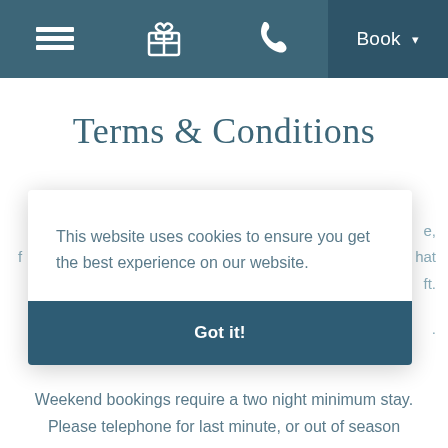☰  🎁  📞  Book ▾
Terms & Conditions
[Figure (screenshot): Cookie consent overlay with message: 'This website uses cookies to ensure you get the best experience on our website.' and a 'Got it!' button]
Weekend bookings require a two night minimum stay. Please telephone for last minute, or out of season